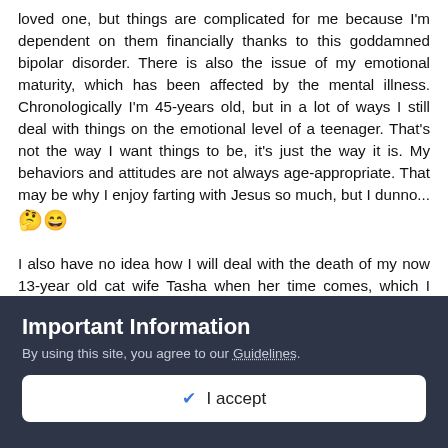loved one, but things are complicated for me because I'm dependent on them financially thanks to this goddamned bipolar disorder. There is also the issue of my emotional maturity, which has been affected by the mental illness. Chronologically I'm 45-years old, but in a lot of ways I still deal with things on the emotional level of a teenager. That's not the way I want things to be, it's just the way it is. My behaviors and attitudes are not always age-appropriate. That may be why I enjoy farting with Jesus so much, but I dunno... 🤔😄
I also have no idea how I will deal with the death of my now 13-year old cat wife Tasha when her time comes, which I know it will. I hope she has several good years left, but you never know when they reach old age... She is much more than "just a cat" or "just a pet" to me. She has been my
Important Information
By using this site, you agree to our Guidelines.
✔ I accept